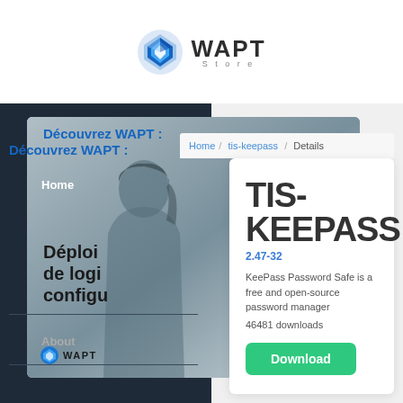[Figure (logo): WAPT Store logo with blue geometric icon and WAPT wordmark]
[Figure (screenshot): WAPT Store website screenshot showing product detail page for TIS-KEEPASS with breadcrumb navigation, product title, version 2.47-32, description, download count, and Download button. Background shows French promotional banner.]
TIS-KEEPASS
2.47-32
KeePass Password Safe is a free and open-source password manager
46481 downloads
Download
Découvrez WAPT:
Déploi de logi configu
Home / tis-keepass / Details
Home
About